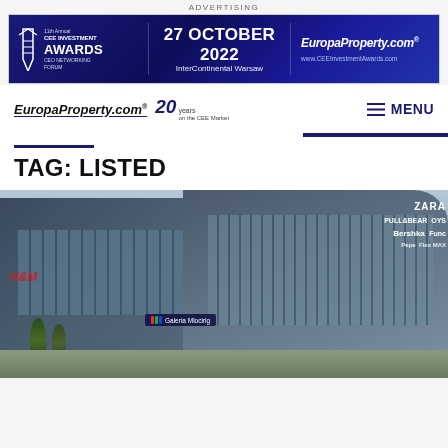ADVERTISING
[Figure (photo): CEE Investment Awards banner advertisement: 11th Annual CEE Investment Awards CEO Networking Forum, 27 October 2022, InterContinental Warsaw. EuropaProperty.com logo and www.CEEInvestmentAwards.com]
EuropaProperty.com® 20 years on the CEE Market  ≡ MENU
TAG: LISTED
[Figure (photo): Exterior photo of Galeria Mlociny shopping center showing modern curved glass facade with store signs including ZARA, H&M, PULL&BEAR, Bershka, Sephora, and other retailers]